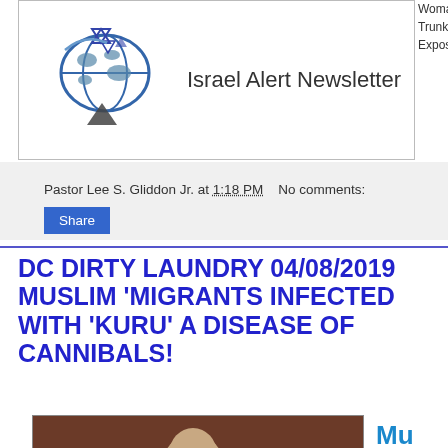[Figure (logo): Israel Alert Newsletter logo with globe, Star of David, and pyramid icons]
Israel Alert Newsletter
Pastor Lee S. Gliddon Jr. at 1:18 PM   No comments:
Share
DC DIRTY LAUNDRY 04/08/2019 MUSLIM 'MIGRANTS INFECTED WITH 'KURU' A DISEASE OF CANNIBALS!
[Figure (photo): Man reading a book, appearing to be a video screenshot]
Mu Ku ca